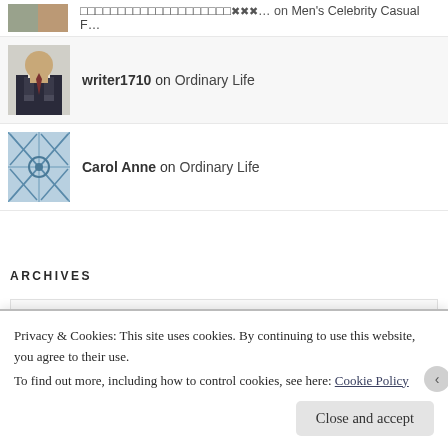[Figure (photo): Partial avatar image at top, cropped]
□□□□□□□□□□□□□□□□□□□□✖✖✖… on Men's Celebrity Casual F…
[Figure (photo): Avatar photo of writer1710 - man in suit]
writer1710 on Ordinary Life
[Figure (illustration): Carol Anne avatar placeholder with decorative pattern]
Carol Anne on Ordinary Life
ARCHIVES
August 2022
Privacy & Cookies: This site uses cookies. By continuing to use this website, you agree to their use.
To find out more, including how to control cookies, see here: Cookie Policy
Close and accept